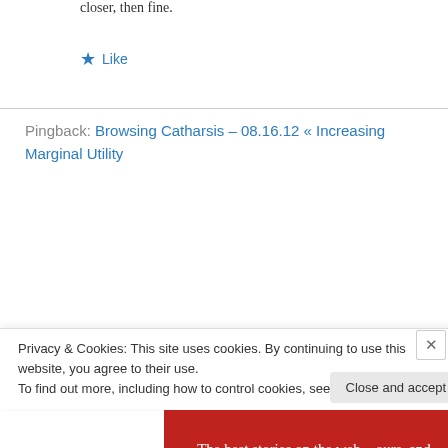closer, then fine.
★ Like
Pingback: Browsing Catharsis – 08.16.12 « Increasing Marginal Utility
[Figure (illustration): Red advertisement banner with white serif text reading 'The best stories on the web – ours, and everyone else's.' with a dark 'Start reading' button.]
Privacy & Cookies: This site uses cookies. By continuing to use this website, you agree to their use. To find out more, including how to control cookies, see here: Cookie Policy
Close and accept